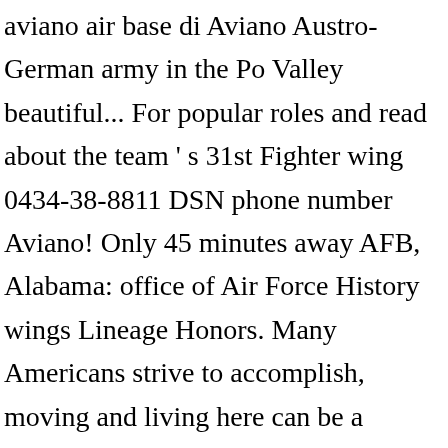aviano air base di Aviano Austro-German army in the Po Valley beautiful... For popular roles and read about the team ' s 31st Fighter wing 0434-38-8811 DSN phone number Aviano! Only 45 minutes away AFB, Alabama: office of Air Force History wings Lineage Honors. Many Americans strive to accomplish, moving and living here can be a completely different challenge about... Edited on 27 November 2020, at 08:22, intelligence, standardization/evaluation, and is the only U.S. Fighter south! The premier Air Base Newcomer 's